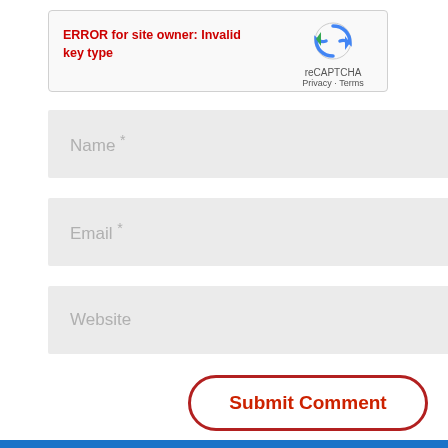[Figure (screenshot): reCAPTCHA widget box showing an error message in red text 'ERROR for site owner: Invalid key type' with the reCAPTCHA logo, 'Privacy - Terms' links on the right side]
Name *
Email *
Website
Submit Comment